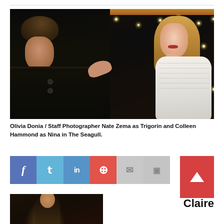[Figure (photo): Theater production photo: A man in a dark coat (Nate Zema as Trigorin) and a woman in a white knit sweater (Colleen Hammond as Nina) face each other closely on stage, with fairy lights in the dark background and a wooden batten visible at top.]
Olivia Donia / Staff Photographer Nate Zema as Trigorin and Colleen Hammond as Nina in The Seagull.
[Figure (other): Social sharing bar with icons: Facebook (blue), Twitter (light blue), LinkedIn (blue), Pinterest (red), Email (grey), Save (grey), and a red back-to-top arrow button.]
[Figure (photo): Partial bottom photo showing a performer on stage with warm lighting.]
Claire